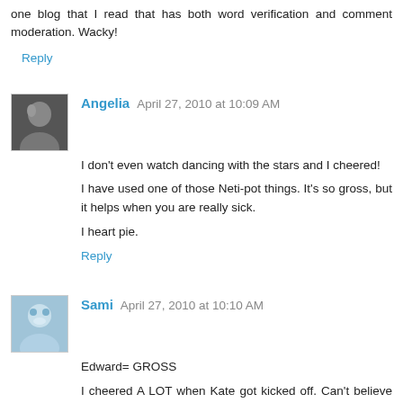one blog that I read that has both word verification and comment moderation. Wacky!
Reply
Angelia  April 27, 2010 at 10:09 AM
I don't even watch dancing with the stars and I cheered!
I have used one of those Neti-pot things. It's so gross, but it helps when you are really sick.
I heart pie.
Reply
Sami  April 27, 2010 at 10:10 AM
Edward= GROSS
I cheered A LOT when Kate got kicked off. Can't believe she lasted as long as she did...